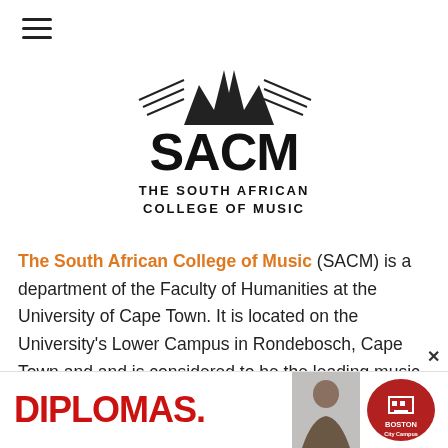[Figure (logo): SACM – The South African College of Music logo with stylized mountain/bird graphic above the text]
The South African College of Music (SACM) is a department of the Faculty of Humanities at the University of Cape Town. It is located on the University's Lower Campus in Rondebosch, Cape Town and and is considered to be the leading music school in South Africa. It offers a diverse range of degrees and diplomas in disciplines including African Music, Composition, Jazz, Opera, Western Classical Music
[Figure (infographic): Advertisement banner: DIPLOMAS. text in red on left, photo of smiling man in center, Boston City Campus logo badge on right, with close X button]